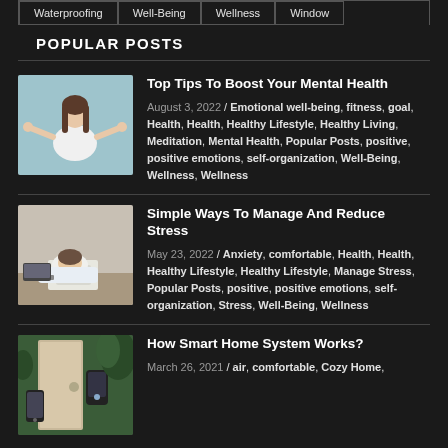Waterproofing | Well-Being | Wellness | Window
POPULAR POSTS
[Figure (photo): Woman meditating in white top against light blue background]
Top Tips To Boost Your Mental Health
August 3, 2022 / Emotional well-being, fitness, goal, Health, Health, Healthy Lifestyle, Healthy Living, Meditation, Mental Health, Popular Posts, positive, positive emotions, self-organization, Well-Being, Wellness, Wellness
[Figure (photo): Man with head down on desk with papers, stressed]
Simple Ways To Manage And Reduce Stress
May 23, 2022 / Anxiety, comfortable, Health, Health, Healthy Lifestyle, Healthy Lifestyle, Manage Stress, Popular Posts, positive, positive emotions, self-organization, Stress, Well-Being, Wellness
[Figure (photo): Smart home device near door with phone]
How Smart Home System Works?
March 26, 2021 / air, comfortable, Cozy Home,